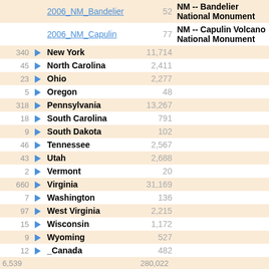| # |  | Name | Count | Description |
| --- | --- | --- | --- | --- |
|  |  | 2006_NM_Bandelier | 52 | NM -- Bandelier National Monument |
|  |  | 2006_NM_Capulin | 77 | NM -- Capulin Volcano National Monument |
| 340 |  | New York | 11,714 |  |
| 45 |  | North Carolina | 2,411 |  |
| 23 |  | Ohio | 2,277 |  |
| 5 |  | Oregon | 48 |  |
| 318 |  | Pennsylvania | 13,267 |  |
| 18 |  | South Carolina | 791 |  |
| 9 |  | South Dakota | 102 |  |
| 46 |  | Tennessee | 2,567 |  |
| 43 |  | Utah | 2,688 |  |
| 2 |  | Vermont | 20 |  |
| 660 |  | Virginia | 31,169 |  |
| 7 |  | Washington | 136 |  |
| 97 |  | West Virginia | 2,215 |  |
| 15 |  | Wisconsin | 1,172 |  |
| 9 |  | Wyoming | 527 |  |
| 12 |  | _Canada | 482 |  |
| 6,539 |  |  | 280,022 |  |
What's hot: The following pages have been the most popular ones over the last month or so: